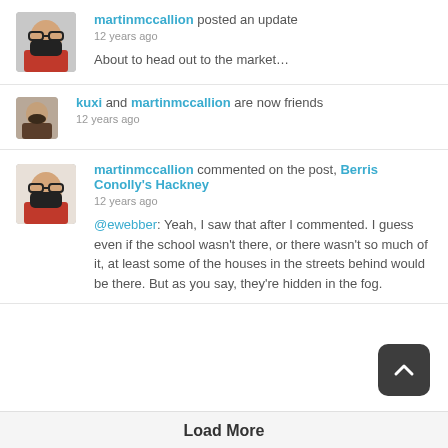martinmccallion posted an update
12 years ago
About to head out to the market…
kuxi and martinmccallion are now friends
12 years ago
martinmccallion commented on the post, Berris Conolly's Hackney
12 years ago
@ewebber: Yeah, I saw that after I commented. I guess even if the school wasn't there, or there wasn't so much of it, at least some of the houses in the streets behind would be there. But as you say, they're hidden in the fog.
Load More